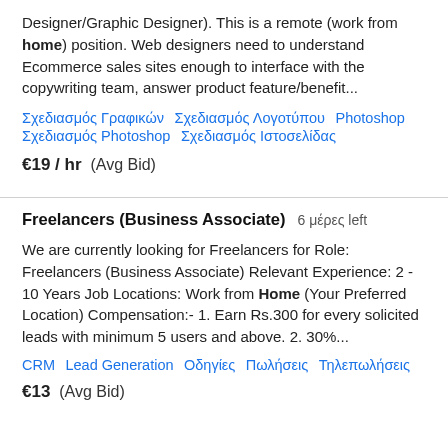Designer/Graphic Designer). This is a remote (work from home) position. Web designers need to understand Ecommerce sales sites enough to interface with the copywriting team, answer product feature/benefit...
Σχεδιασμός Γραφικών   Σχεδιασμός Λογοτύπου   Photoshop   Σχεδιασμός Photoshop   Σχεδιασμός Ιστοσελίδας
€19 / hr   (Avg Bid)
Freelancers (Business Associate)   6 μέρες left
We are currently looking for Freelancers for Role: Freelancers (Business Associate) Relevant Experience: 2 - 10 Years Job Locations: Work from Home (Your Preferred Location) Compensation:- 1. Earn Rs.300 for every solicited leads with minimum 5 users and above. 2. 30%...
CRM   Lead Generation   Οδηγίες   Πωλήσεις   Τηλεπωλήσεις
€13   (Avg Bid)